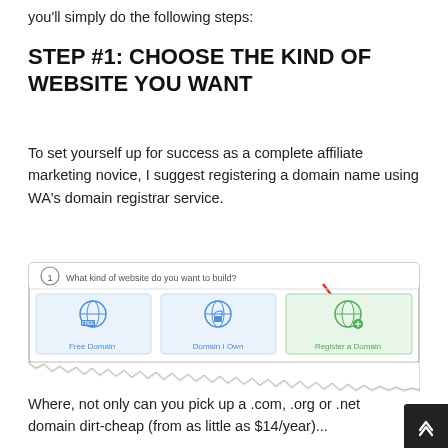you'll simply do the following steps:
STEP #1: CHOOSE THE KIND OF WEBSITE YOU WANT
To set yourself up for success as a complete affiliate marketing novice, I suggest registering a domain name using WA's domain registrar service.
[Figure (screenshot): Screenshot of a website builder interface showing three options: 'Free Domain', 'Domain I Own', and 'Register a Domain' (highlighted with a red arrow pointing to it). The question reads: 'What kind of website do you want to build?']
Where, not only can you pick up a .com, .org or .net domain dirt-cheap (from as little as $14/year)...